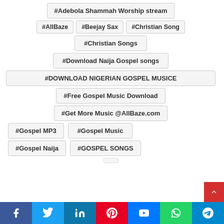#Adebola Shammah Worship stream
#AllBaze
#Beejay Sax
#Christian Song
#Christian Songs
#Download Naija Gospel songs
#DOWNLOAD NIGERIAN GOSPEL MUSICE
#Free Gospel Music Download
#Get More Music @AllBaze.com
#Gospel MP3
#Gospel Music
#Gospel Naija
#GOSPEL SONGS